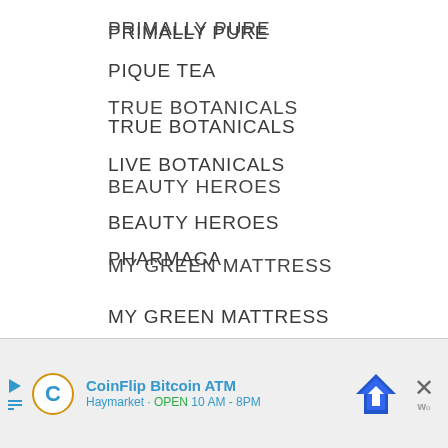PRIMALLY PURE
TRUE BOTANICALS
BEAUTY HEROES
MY GREEN MATTRESS
EVOLVH HAIR PRODUCTS
PIQUE TEA
LIVE BOTANICALS
PHARMACA
INNERSENSE HAIR
BEEKEEPER'S NATUR…
[Figure (other): CoinFlip Bitcoin ATM advertisement overlay banner with play icon, C logo, bitcoin ATM text, arrow road sign icon, and close button]